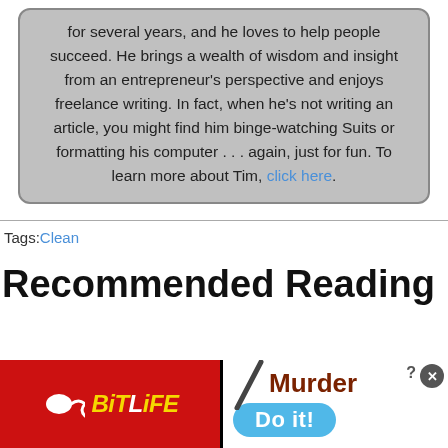for several years, and he loves to help people succeed. He brings a wealth of wisdom and insight from an entrepreneur's perspective and enjoys freelance writing. In fact, when he's not writing an article, you might find him binge-watching Suits or formatting his computer . . . again, just for fun. To learn more about Tim, click here.
Tags: Clean
Recommended Reading
[Figure (other): Advertisement banner with BitLife game logo on red background on the left, and Murder/Do it! text on white background on the right with a blue pill-shaped button.]